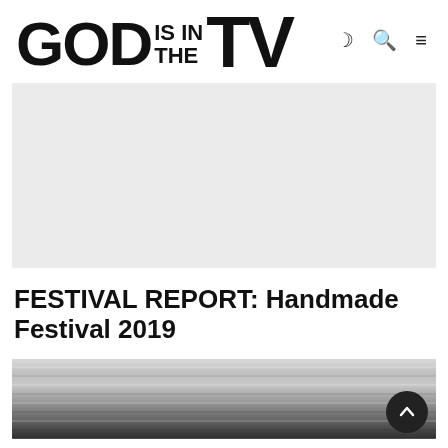GOD IS IN THE TV
[Figure (other): Light grey advertisement banner placeholder]
FESTIVAL REPORT: Handmade Festival 2019
[Figure (photo): Black and white photo showing rolled or stacked cylindrical objects (possibly fabric rolls or logs), partially visible at the bottom of the page]